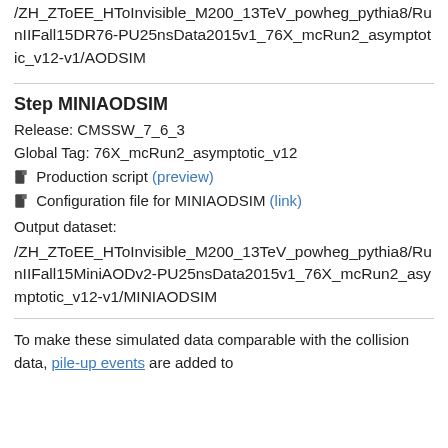/ZH_ZToEE_HToInvisible_M200_13TeV_powheg_pythia8/RunIIFall15DR76-PU25nsData2015v1_76X_mcRun2_asymptotic_v12-v1/AODSIM
Step MINIAODSIM
Release: CMSSW_7_6_3
Global Tag: 76X_mcRun2_asymptotic_v12
Production script (preview)
Configuration file for MINIAODSIM (link)
Output dataset:
/ZH_ZToEE_HToInvisible_M200_13TeV_powheg_pythia8/RunIIFall15MiniAODv2-PU25nsData2015v1_76X_mcRun2_asymptotic_v12-v1/MINIAODSIM
To make these simulated data comparable with the collision data, pile-up events are added to